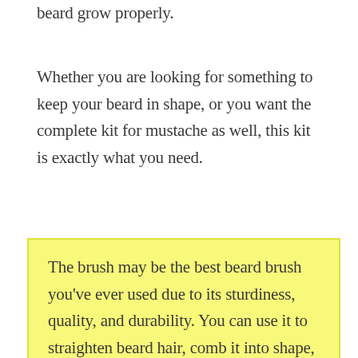beard grow properly.
Whether you are looking for something to keep your beard in shape, or you want the complete kit for mustache as well, this kit is exactly what you need.
The brush may be the best beard brush you've ever used due to its sturdiness, quality, and durability. You can use it to straighten beard hair, comb it into shape, and untangle hair matts. If you have ever experienced hair